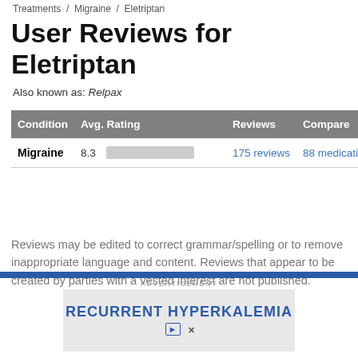Treatments / Migraine / Eletriptan
User Reviews for Eletriptan
Also known as: Relpax
| Condition | Avg. Rating | Reviews | Compare |
| --- | --- | --- | --- |
| Migraine | 8.3 | 175 reviews | 88 medications |
Reviews may be edited to correct grammar/spelling or to remove inappropriate language and content. Reviews that appear to be created by parties with a vested interest are not published.
[Figure (screenshot): Advertisement banner for Recurrent Hyperkalemia]